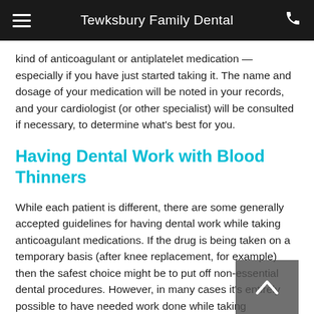Tewksbury Family Dental
kind of anticoagulant or antiplatelet medication — especially if you have just started taking it. The name and dosage of your medication will be noted in your records, and your cardiologist (or other specialist) will be consulted if necessary, to determine what's best for you.
Having Dental Work with Blood Thinners
While each patient is different, there are some generally accepted guidelines for having dental work while taking anticoagulant medications. If the drug is being taken on a temporary basis (after knee replacement, for example) then the safest choice might be to put off non-essential dental procedures. However, in many cases it's entirely possible to have needed work done while taking